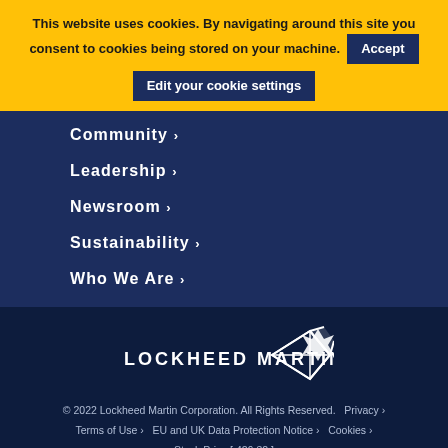This website uses cookies. By navigating around this site you consent to cookies being stored on your machine. Accept Edit your cookie settings
Community ›
Leadership ›
Newsroom ›
Sustainability ›
Who We Are ›
[Figure (logo): Lockheed Martin logo — white text 'LOCKHEED MARTIN' with star/arrow graphic on dark navy background]
© 2022 Lockheed Martin Corporation. All Rights Reserved.   Privacy ›   Terms of Use ›   EU and UK Data Protection Notice ›   Cookies ›   Stock Price [ 426.32 ]